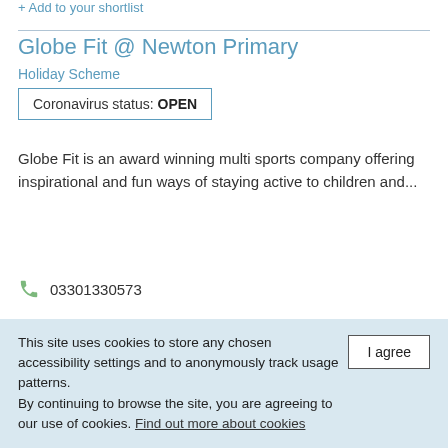+ Add to your shortlist
Globe Fit @ Newton Primary
Holiday Scheme
Coronavirus status: OPEN
Globe Fit is an award winning multi sports company offering inspirational and fun ways of staying active to children and...
03301330573
info@globefit.co.uk
https://www.globefit.co.uk/
This site uses cookies to store any chosen accessibility settings and to anonymously track usage patterns. By continuing to browse the site, you are agreeing to our use of cookies. Find out more about cookies